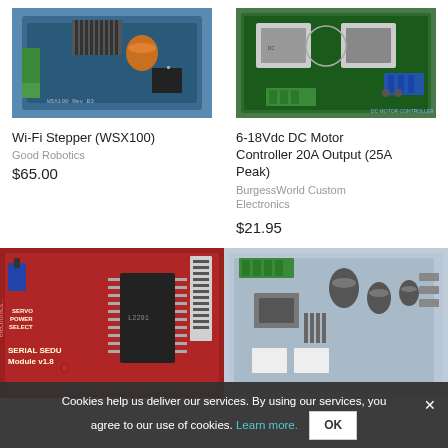[Figure (photo): Wi-Fi Stepper (WSX100) PCB board with orange capacitors and heat sink on blue circuit board]
Wi-Fi Stepper (WSX100)
Good Robotics
$65.00
[Figure (photo): 6-18Vdc DC Motor Controller 20A Output (25A Peak) green PCB with two large chips]
6-18Vdc DC Motor Controller 20A Output (25A Peak)
BurgessWorld Custom Electronics
$21.95
[Figure (photo): Red PCB serial sedu module v1.8 with IC chip and servo power select]
[Figure (photo): Light blue stepper motor controller board with capacitors]
Cookies help us deliver our services. By using our services, you agree to our use of cookies. Learn more.
OK